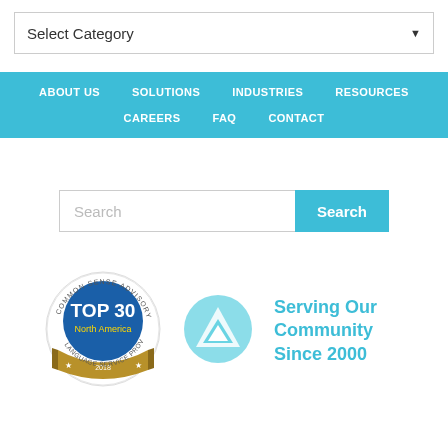Select Category
ABOUT US  SOLUTIONS  INDUSTRIES  RESOURCES  CAREERS  FAQ  CONTACT
Search
[Figure (logo): Common Sense Advisory TOP 30 North America Language Service Providers 2018 badge]
[Figure (logo): Company logo - triangle arrow in teal circle]
Serving Our Community Since 2000